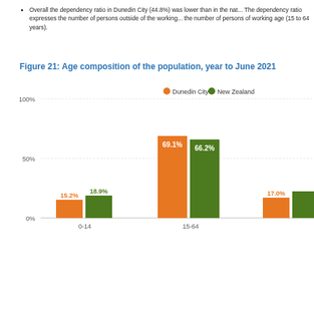Overall the dependency ratio in Dunedin City (44.8%) was lower than in the national average. The dependency ratio expresses the number of persons outside of the working age as a ratio to the number of persons of working age (15 to 64 years).
Figure 21: Age composition of the population, year to June 2021
[Figure (grouped-bar-chart): Figure 21: Age composition of the population, year to June 2021]